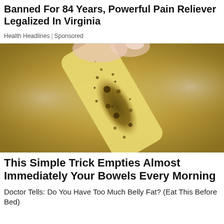Banned For 84 Years, Powerful Pain Reliever Legalized In Virginia
Health Headlines | Sponsored
[Figure (photo): Close-up photo of a hand with pink nails holding a translucent yellowish strip or gel substance covered with dark brown/golden speckled particles, held over a glass bowl with similar content.]
This Simple Trick Empties Almost Immediately Your Bowels Every Morning
Doctor Tells: Do You Have Too Much Belly Fat? (Eat This Before Bed)